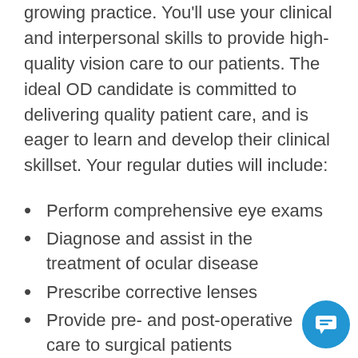growing practice. You'll use your clinical and interpersonal skills to provide high-quality vision care to our patients. The ideal OD candidate is committed to delivering quality patient care, and is eager to learn and develop their clinical skillset. Your regular duties will include:
Perform comprehensive eye exams
Diagnose and assist in the treatment of ocular disease
Prescribe corrective lenses
Provide pre- and post-operative care to surgical patients
Promote healthy vision by counseling and educating patients
Maintain detailed patient records regarding diagnosis, treatment plans, and